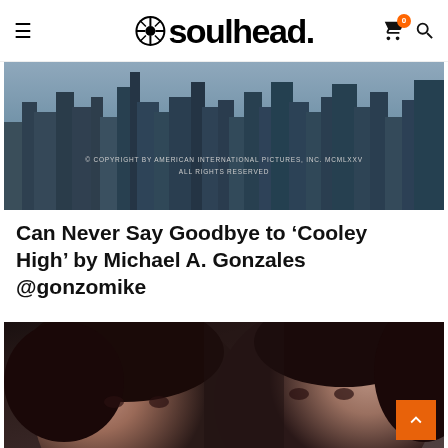soulhead
[Figure (photo): A city skyline photograph with copyright notice: © COPYRIGHT BY AMERICAN INTERNATIONAL PICTURES, INC. MCMLXXV ALL RIGHTS RESERVED]
Can Never Say Goodbye to 'Cooley High' by Michael A. Gonzales @gonzomike
[Figure (photo): Close-up photograph of two women with dark curly hair facing the camera, likely a movie poster or album cover image]